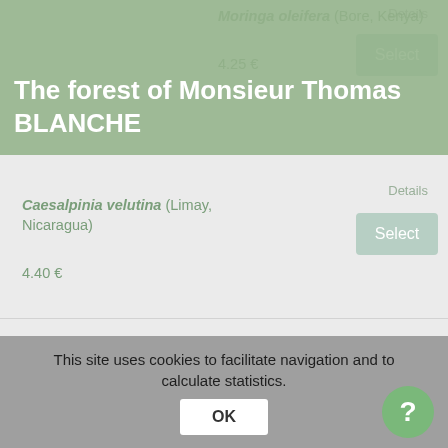The forest of Monsieur Thomas BLANCHE
Moringa oleifera (Bore, Kenya) — 4.25 €
Caesalpinia velutina (Limay, Nicaragua) — 4.40 €
Bombacopsis quinata (Communitree, Nicaragua) — 11.25 €
Swietenia humilis (Communitree, Nicaragua) — 17.50 €
This site uses cookies to facilitate navigation and to calculate statistics.